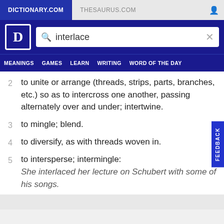DICTIONARY.COM | THESAURUS.COM
[Figure (screenshot): Dictionary.com logo with search bar containing 'interlace']
MEANINGS  GAMES  LEARN  WRITING  WORD OF THE DAY
2  to unite or arrange (threads, strips, parts, branches, etc.) so as to intercross one another, passing alternately over and under; intertwine.
3  to mingle; blend.
4  to diversify, as with threads woven in.
5  to intersperse; intermingle: She interlaced her lecture on Schubert with some of his songs.